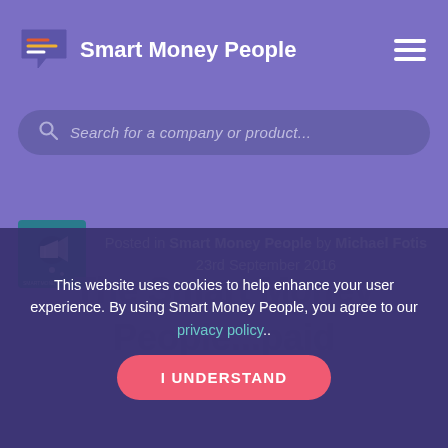Smart Money People
Search for a company or product...
Posted in Smart Money People by Michael Fotis
23rd September 2016
This website uses cookies to help enhance your user experience. By using Smart Money People, you agree to our privacy policy..
I UNDERSTAND